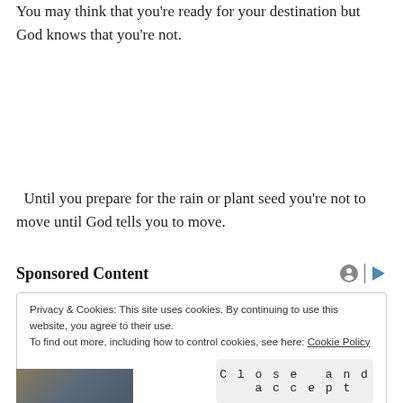You may think that you're ready for your destination but God knows that you're not.
Until you prepare for the rain or plant seed you're not to move until God tells you to move.
Sponsored Content
Privacy & Cookies: This site uses cookies. By continuing to use this website, you agree to their use.
To find out more, including how to control cookies, see here: Cookie Policy
Close and accept
[Figure (photo): Partial photo strip visible at the bottom of the page]